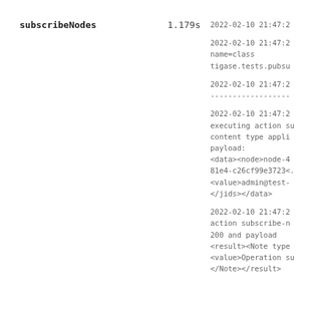subscribeNodes
1.179s
2022-02-10 21:47:2

2022-02-10 21:47:2
name=class
tigase.tests.pubsu

2022-02-10 21:47:2
------------------

2022-02-10 21:47:2
executing action su
content type appli
payload:
<data><node>node-4
81e4-c26cf99e3723<.
<value>admin@test-
</jids></data>

2022-02-10 21:47:2
action subscribe-n
200 and payload
<result><Note type
<value>Operation s
</Note></result>